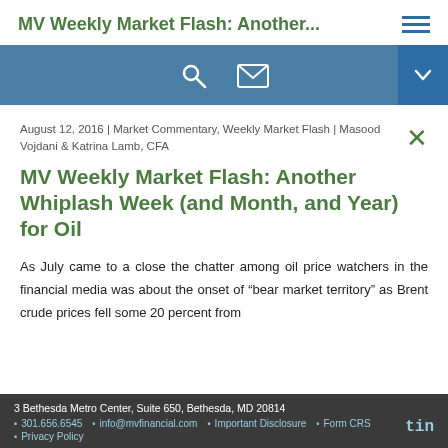MV Weekly Market Flash: Another...
August 12, 2016 | Market Commentary, Weekly Market Flash | Masood Vojdani & Katrina Lamb, CFA
MV Weekly Market Flash: Another Whiplash Week (and Month, and Year) for Oil
As July came to a close the chatter among oil price watchers in the financial media was about the onset of "bear market territory" as Brent crude prices fell some 20 percent from
3 Bethesda Metro Center, Suite 650, Bethesda, MD 20814 | 301.656.6545 | info@mvfinancial.com | Important Disclosure | Form CRS | Privacy Policy